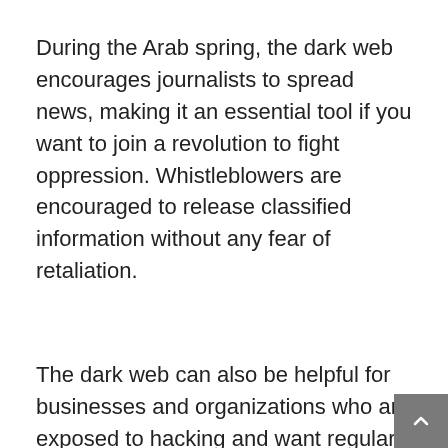During the Arab spring, the dark web encourages journalists to spread news, making it an essential tool if you want to join a revolution to fight oppression. Whistleblowers are encouraged to release classified information without any fear of retaliation.
The dark web can also be helpful for businesses and organizations who are exposed to hacking and want regular threat monitoring and individual